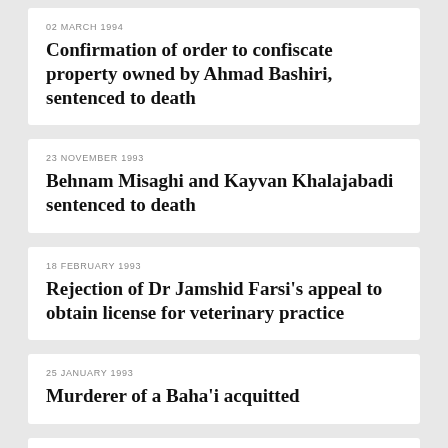02 MARCH 1994
Confirmation of order to confiscate property owned by Ahmad Bashiri, sentenced to death
23 NOVEMBER 1993
Behnam Misaghi and Kayvan Khalajabadi sentenced to death
18 FEBRUARY 1993
Rejection of Dr Jamshid Farsi's appeal to obtain license for veterinary practice
25 JANUARY 1993
Murderer of a Baha'i acquitted
11 JANUARY 1993